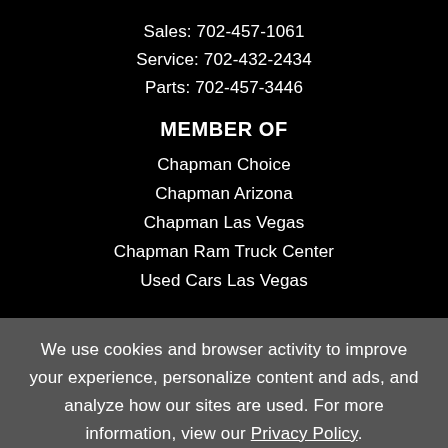Sales: 702-457-1061
Service: 702-432-2434
Parts: 702-457-3446
MEMBER OF
Chapman Choice
Chapman Arizona
Chapman Las Vegas
Chapman Ram Truck Center
Used Cars Las Vegas
We use cookies and browser activity to improve your experience, personalize content and ads, and analyze how our sites are used. For more information, view our Privacy Policy.
Accept